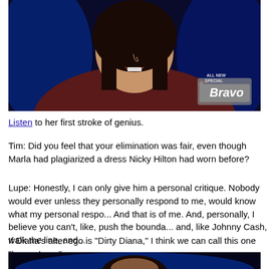[Figure (photo): A woman with dark hair wearing a dark maroon turtleneck top, speaking or reacting on what appears to be a Bravo TV show. The Bravo network logo and 'ALL NEW SPECIAL' text are visible in the lower right corner of the image.]
Listen to her first stroke of genius.
Tim: Did you feel that your elimination was fair, even though Marla had plagiarized a dress Nicky Hilton had worn before?
Lupe: Honestly, I can only give him a personal critique. Nobody would ever unless they personally respond to me, would know what my personal respo... And that is of me. And, personally, I believe you can't, like, push the bounda... and, like Johnny Cash, walk the line, and...
If Diana's alter ego is "Dirty Diana," I think we can call this one "Loopy Lupe" now on.
[Figure (photo): Bottom portion of another TV screenshot showing a dark background with blue lighting, partial view of a person.]